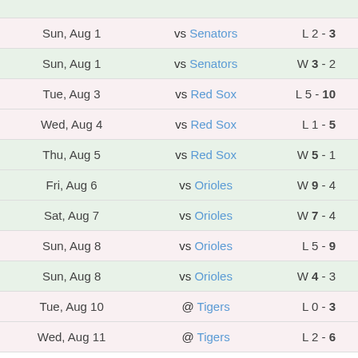| Date | Opponent | Result |
| --- | --- | --- |
| Sun, Aug 1 | vs Senators | L 2 - 3 |
| Sun, Aug 1 | vs Senators | W 3 - 2 |
| Tue, Aug 3 | vs Red Sox | L 5 - 10 |
| Wed, Aug 4 | vs Red Sox | L 1 - 5 |
| Thu, Aug 5 | vs Red Sox | W 5 - 1 |
| Fri, Aug 6 | vs Orioles | W 9 - 4 |
| Sat, Aug 7 | vs Orioles | W 7 - 4 |
| Sun, Aug 8 | vs Orioles | L 5 - 9 |
| Sun, Aug 8 | vs Orioles | W 4 - 3 |
| Tue, Aug 10 | @ Tigers | L 0 - 3 |
| Wed, Aug 11 | @ Tigers | L 2 - 6 |